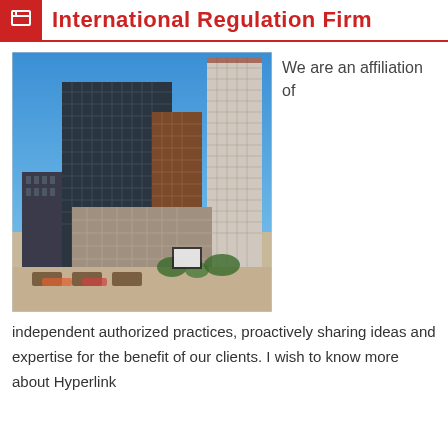International Regulation Firm
[Figure (photo): Photograph of modern city skyscrapers and office buildings under a clear blue sky, with a plaza in the foreground.]
We are an affiliation of
independent authorized practices, proactively sharing ideas and expertise for the benefit of our clients. I wish to know more about Hyperlink